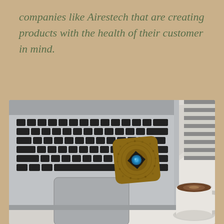companies like Airestech that are creating products with the health of their customer in mind.
[Figure (photo): A flat-lay photo on a white desk showing a silver MacBook laptop with black keyboard, a small square cork/wooden EMF protection device with a blue diamond eye design in the center, a striped grey and white cloth in the upper right corner, and a white ceramic cup of coffee with a saucer in the lower right corner. Strong directional shadows visible across the white surface.]